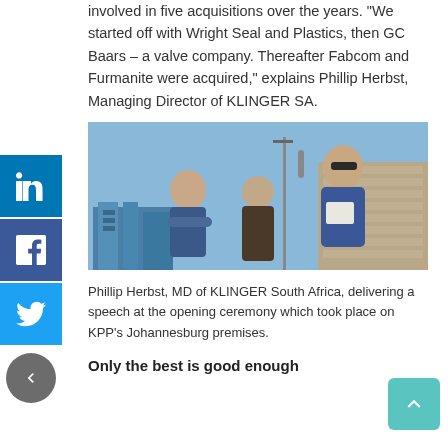involved in five acquisitions over the years. "We started off with Wright Seal and Plastics, then GC Baars – a valve company. Thereafter Fabcom and Furmanite were acquired," explains Phillip Herbst, Managing Director of KLINGER SA.
[Figure (photo): Three men standing outdoors. A man on the right wearing sunglasses and a blue jacket holds papers and speaks at a microphone. Two other men stand to the left. Blue industrial equipment and a brick wall are visible in the background.]
Phillip Herbst, MD of KLINGER South Africa, delivering a speech at the opening ceremony which took place on KPP's Johannesburg premises.
Only the best is good enough